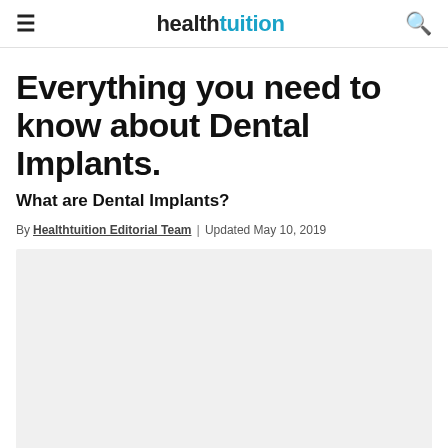healthtuition
Everything you need to know about Dental Implants.
What are Dental Implants?
By Healthtuition Editorial Team | Updated May 10, 2019
[Figure (photo): Large light grey placeholder image area for dental implants article]